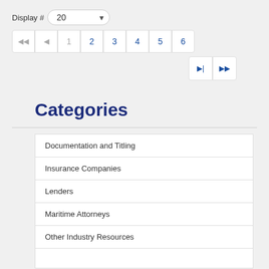Display # 20
[Figure (screenshot): Pagination control showing page numbers 1, 2, 3, 4, 5, 6 with navigation arrows]
Categories
Documentation and Titling
Insurance Companies
Lenders
Maritime Attorneys
Other Industry Resources